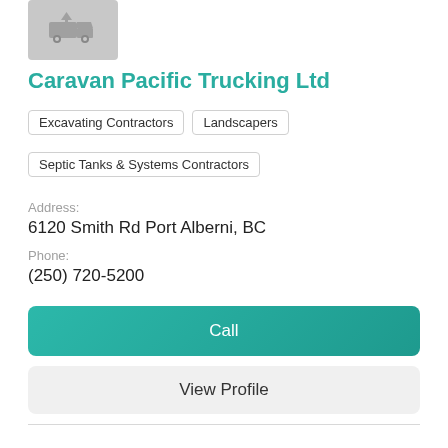[Figure (illustration): Gray placeholder box with a truck/excavator icon in teal/gray]
Caravan Pacific Trucking Ltd
Excavating Contractors
Landscapers
Septic Tanks & Systems Contractors
Address:
6120 Smith Rd Port Alberni, BC
Phone:
(250) 720-5200
Call
View Profile
[Figure (illustration): Gray placeholder box with an excavator/crane icon in teal/gray]